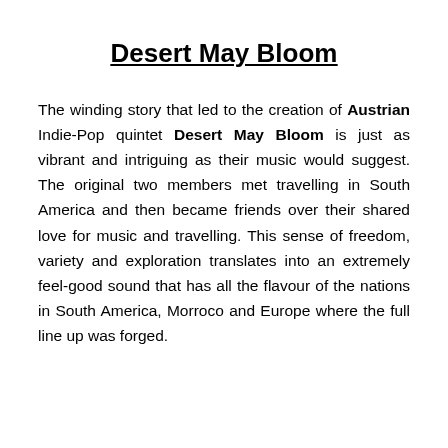Desert May Bloom
The winding story that led to the creation of Austrian Indie-Pop quintet Desert May Bloom is just as vibrant and intriguing as their music would suggest. The original two members met travelling in South America and then became friends over their shared love for music and travelling. This sense of freedom, variety and exploration translates into an extremely feel-good sound that has all the flavour of the nations in South America, Morroco and Europe where the full line up was forged.